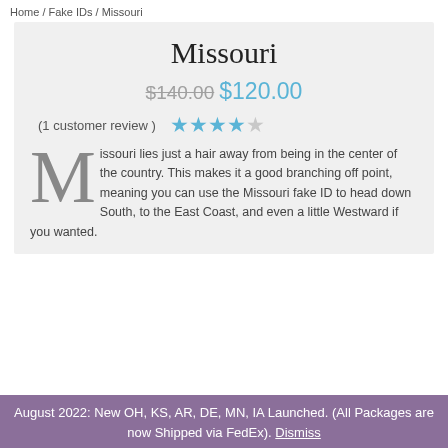Home / Fake IDs / Missouri
Missouri
$140.00 $120.00
(1 customer review)  ★★★★☆
Missouri lies just a hair away from being in the center of the country. This makes it a good branching off point, meaning you can use the Missouri fake ID to head down South, to the East Coast, and even a little Westward if you wanted.
August 2022: New OH, KS, AR, DE, MN, IA Launched. (All Packages are now Shipped via FedEx). Dismiss